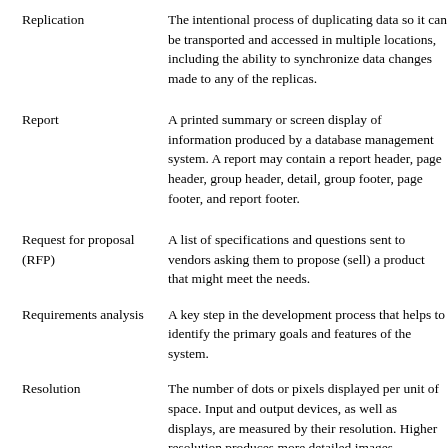Replication — The intentional process of duplicating data so it can be transported and accessed in multiple locations, including the ability to synchronize data changes made to any of the replicas.
Report — A printed summary or screen display of information produced by a database management system. A report may contain a report header, page header, group header, detail, group footer, page footer, and report footer.
Request for proposal (RFP) — A list of specifications and questions sent to vendors asking them to propose (sell) a product that might meet the needs.
Requirements analysis — A key step in the development process that helps to identify the primary goals and features of the system.
Resolution — The number of dots or pixels displayed per unit of space. Input and output devices, as well as displays, are measured by their resolution. Higher resolution produces more detailed images.
Reusability — The ultimate goal of object-oriented design: designing code up front and storing it in a repository where it can be shared by multiple applications, instead of requiring developers to rewrite code each time a new system is built.
Reengineering — The process of taking older software and rewriting it to make it easier to modify and enhance.